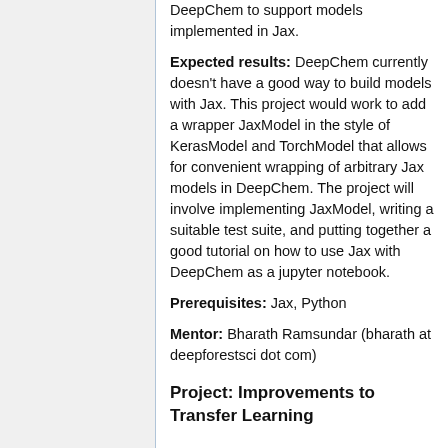DeepChem to support models implemented in Jax.
Expected results: DeepChem currently doesn't have a good way to build models with Jax. This project would work to add a wrapper JaxModel in the style of KerasModel and TorchModel that allows for convenient wrapping of arbitrary Jax models in DeepChem. The project will involve implementing JaxModel, writing a suitable test suite, and putting together a good tutorial on how to use Jax with DeepChem as a jupyter notebook.
Prerequisites: Jax, Python
Mentor: Bharath Ramsundar (bharath at deepforestsci dot com)
Project: Improvements to Transfer Learning